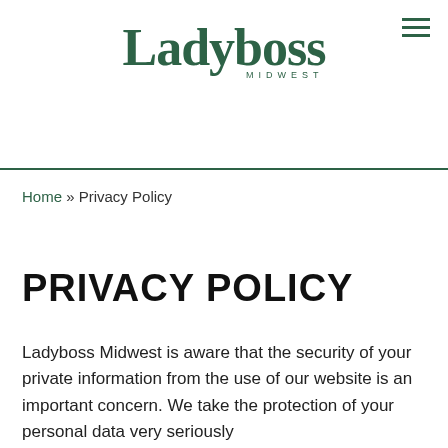[Figure (logo): Ladyboss Midwest logo in dark green serif font with 'MIDWEST' in small caps below]
Home » Privacy Policy
PRIVACY POLICY
Ladyboss Midwest is aware that the security of your private information from the use of our website is an important concern. We take the protection of your personal data very seriously